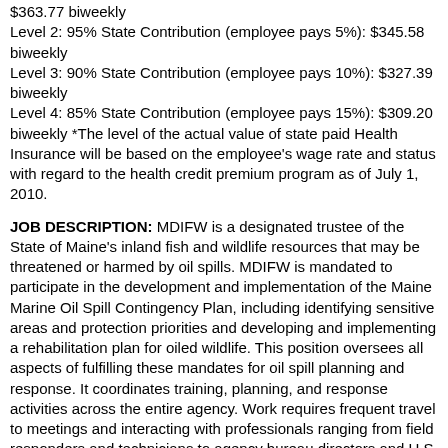$363.77 biweekly
Level 2: 95% State Contribution (employee pays 5%): $345.58 biweekly
Level 3: 90% State Contribution (employee pays 10%): $327.39 biweekly
Level 4: 85% State Contribution (employee pays 15%): $309.20 biweekly *The level of the actual value of state paid Health Insurance will be based on the employee's wage rate and status with regard to the health credit premium program as of July 1, 2010.
JOB DESCRIPTION: MDIFW is a designated trustee of the State of Maine's inland fish and wildlife resources that may be threatened or harmed by oil spills. MDIFW is mandated to participate in the development and implementation of the Maine Marine Oil Spill Contingency Plan, including identifying sensitive areas and protection priorities and developing and implementing a rehabilitation plan for oiled wildlife. This position oversees all aspects of fulfilling these mandates for oil spill planning and response. It coordinates training, planning, and response activities across the entire agency. Work requires frequent travel to meetings and interacting with professionals ranging from field responders and technicians to agency bureau directors and U.S. Coast Guard senior staff. Duties include:
• Assist with wildlife surveys and use GIS to map habitat and manage data to identify and evaluate areas vulnerable to oil